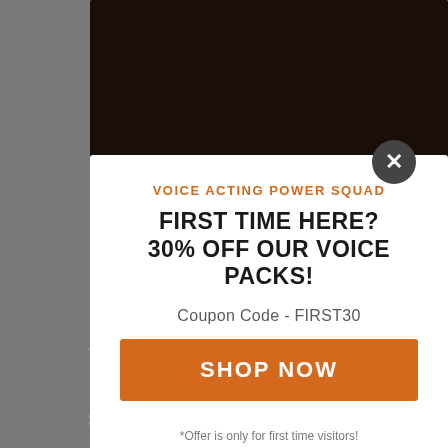[Figure (screenshot): Background webpage screenshot showing a dark product image area at top and a product title 'STARTER VOICE PACK – FRIK THE GUARD – AFRIKAANS' with price $4.99 below, overlaid by a popup modal.]
VOICE ACTING POWER SQUAD
FIRST TIME HERE?
30% OFF OUR VOICE PACKS!
Coupon Code - FIRST30
SHOP NOW
*Offer is only for first time visitors!
STARTER VOICE PACK – FRIK THE GUARD – AFRIKAANS
$4.99
Powered by ConvertPlug™